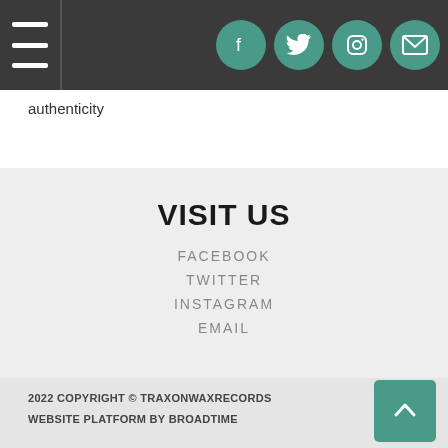Navigation menu and social icons (Facebook, Twitter, Instagram, Email)
authenticity
VISIT US
FACEBOOK
TWITTER
INSTAGRAM
EMAIL
2022 COPYRIGHT © TRAXONWAXRECORDS
WEBSITE PLATFORM BY BROADTIME